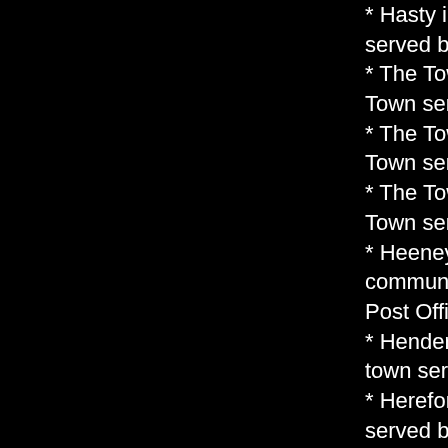* Hasty in Bent County, Colorado, is an unincorporated community served by U.S. Post Office 81044
* The Town of Haswell in Kiowa County, Colorado, is a Statutory Town served by U.S. Post Office 81045
* The Town of Haxtun in Phillips County, Colorado, is a Statutory Town served by U.S. Post Office 80731
* The Town of Hayden in Routt County, Colorado, is a Statutory Town served by U.S. Post Office 81639
* Heeney in Summit County, Colorado, is an unincorporated community and a postal address served by the Silverthorne Post Office 80498
* Henderson in Adams County, Colorado, is an unincorporated town served by U.S. Post Office 80640
* Hereford in Weld County, Colorado, is an unincorporated community served by U.S. Post Office 80732
* Heritage Hills in Douglas County, Colorado, is an unincorporated community and a Census Designated Place served by U.S. Post Office 80124
* Hesperus in La Plata County, Colorado, is an unincorporated town served by U.S. Post Office 81326
* Highlands Ranch in Douglas County, Colorado, is an unincorporated city, a Census Designated Place, and a postal address served by the Littleton U.S. Post Offices at 80130 & 80163
* The Town of Hillrose in Morgan County, Colorado, is a Statutory Town served by U.S. Post Office 80733
* Hillside in Fremont County, Colorado, is an unincorporated community served by U.S. Post Office 81232
* Hoehne in Las Animas County, Colorado, is an unincorporated town served by U.S. Post Office 81046
* The Town of Holly in Prowers County, Colorado...